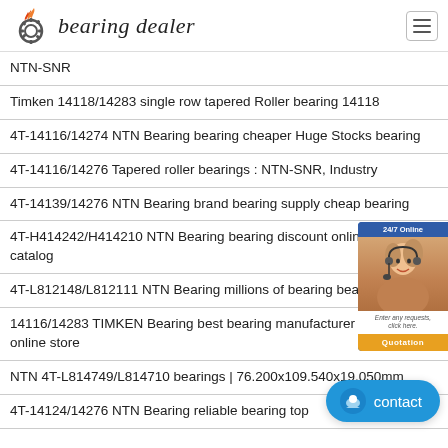bearing dealer
NTN-SNR
Timken 14118/14283 single row tapered Roller bearing 14118
4T-14116/14274 NTN Bearing bearing cheaper Huge Stocks bearing
4T-14116/14276 Tapered roller bearings : NTN-SNR, Industry
4T-14139/14276 NTN Bearing brand bearing supply cheap bearing
4T-H414242/H414210 NTN Bearing bearing discount online bearing catalog
4T-L812148/L812111 NTN Bearing millions of bearing bearing import
14116/14283 TIMKEN Bearing best bearing manufacturer bearing online store
NTN 4T-L814749/L814710 bearings | 76.200x109.540x19.050mm
4T-14124/14276 NTN Bearing reliable bearing top